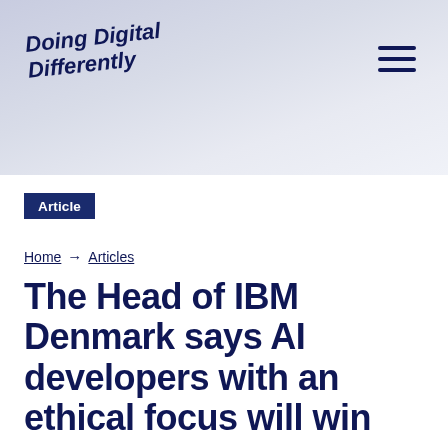Doing Digital Differently
Article
Home → Articles
The Head of IBM Denmark says AI developers with an ethical focus will win
02.04.2020    6 min read